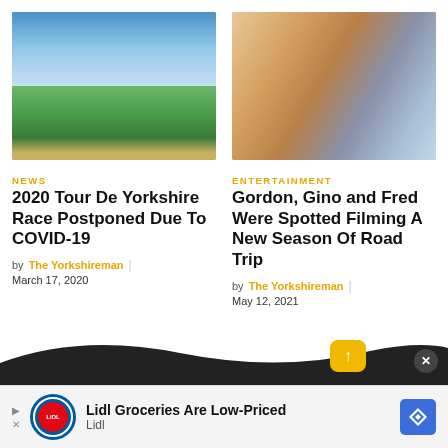[Figure (photo): Scenic landscape of rolling green hills with a blue sky and clouds, rural Yorkshire countryside]
[Figure (photo): Selfie of three men wearing sunglasses, smiling outdoors — Gordon Ramsay, Gino D'Acampo, and Fred Sirieix]
NEWS
2020 Tour De Yorkshire Race Postponed Due To COVID-19
by The Yorkshireman | March 17, 2020
ENTERTAINMENT
Gordon, Gino and Fred Were Spotted Filming A New Season Of Road Trip
by The Yorkshireman | May 12, 2021
[Figure (screenshot): Advertisement banner: Lidl Groceries Are Low-Priced, with Lidl logo and navigation icon]